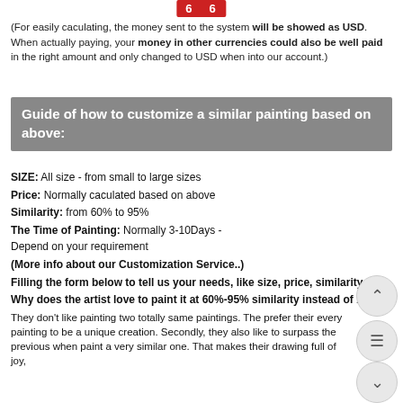[Figure (other): Red badge with '6 6' text at top]
(For easily caculating, the money sent to the system will be showed as USD. When actually paying, your money in other currencies could also be well paid in the right amount and only changed to USD when into our account.)
Guide of how to customize a similar painting based on above:
SIZE: All size - from small to large sizes
Price: Normally caculated based on above
Similarity: from 60% to 95%
The Time of Painting: Normally 3-10Days - Depend on your requirement
(More info about our Customization Service..)
Filling the form below to tell us your needs, like size, price, similarity, etc.
Why does the artist love to paint it at 60%-95% similarity instead of 100%?
They don't like painting two totally same paintings. They prefer their every painting to be a unique creation. Secondly, they also like to surpass the previous when paint a very similar one. That makes their drawing full of joy, positive. They can really spirit through their inspiration.